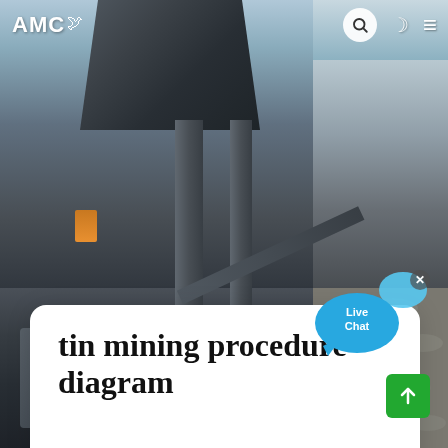AMC
[Figure (photo): Mining equipment and industrial machinery photographs shown as a collaged background — left panel shows a tall steel frame conveyor/screening tower structure against a hazy sky; bottom-left shows close-up of industrial machinery with purple pipes; right panel shows a mountainous landscape with a road and rocky terrain]
tin mining procedure diagram
[Figure (infographic): Live Chat speech bubble widget in blue gradient with 'Live Chat' text and a secondary smaller bubble, plus a close (x) button in grey]
[Figure (infographic): Carousel navigation dots — two white dots and one orange active dot]
[Figure (infographic): Green scroll-to-top button with upward arrow icon in bottom-right corner]